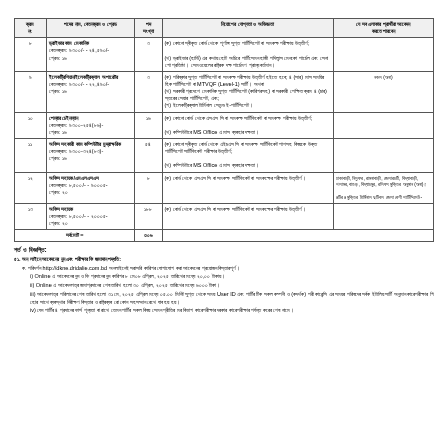| ক্রম নং | পদের নাম, বেতনক্রম ও গ্রেড | পদ সংখ্যা | নিয়োগের যোগ্যতা ও অভিজ্ঞতা | যে সব এলাকার প্রার্থীরা আবেদন করতে পারবেন |
| --- | --- | --- | --- | --- |
| ৮ | ড্রাইভার কাম মেকানিক... | ৩ | (ক) কোনো স্বীকৃত বোর্ড থেকে পূর্ণাঙ্গ সুপ্ত পার্টিসিপেট বা সমকক্ষ পরীক্ষায় উত্তীর্ণ;... |  |
| ৯ | ইলেকট্রিশিয়ান/ইলেকট্রিক্যাল অপারেটর... | ৩ | (ক) পরিষ্কার সুপ্ত পার্টিসিপেট বা সমকক্ষ পরীক্ষায় উত্তীর্ণ... | নকল (অনা) |
| ১০ | পেম্বার চেইনম্যান... | ১৬ | (ক) কোনো বোর্ড থেকে এসএস সি বা সমকক্ষ সার্টিফিকেট বা সমকক্ষ পরীক্ষায় উত্তীর্ণ;... |  |
| ১১ | অফিস সহকারী কাম কম্পিউটার মূদ্রাক্ষরিক... | ৫৪ | (ক) কোনো স্বীকৃত বোর্ড থেকে এইচএস সি বা সমকক্ষ সার্টিফিকেট পাশ... |  |
| ১২ | অফিস সহায়ক/এমএলএসএস... | ৮ | (ক) বোর্ড থেকে এসএস সি বা সমকক্ষ সার্টিফিকেট বা সমকক্ষের পরীক্ষায় উত্তীর্ণ। | ঢাকাবাড়ী, নিলুফর, রামনাবাড়ী... |
| ১৩ | অফিস সহায়ক... | ১৮৮ | (ক) বোর্ড থেকে এসএস সি বা সমকক্ষ সার্টিফিকেট বা সমকক্ষের পরীক্ষায় উত্তীর্ণ। |  |
সর্বমোট = ৩০৬
শর্ত ও বিজ্ঞপ্তি:
৫১. অন লাইনে আবেদনের নুন এবং পরীক্ষার ফি জমাদান পদ্ধতি:
ক. পরিদর্শন http://dkne.dridalie.com.bd অনলাইনেই সরাসরি কারিগর যোগাযোগ করা আবেদনের প্রয়োজন বিস্তারপূর্ণ
i) Online এ আবেদনের নুন ও ফি প্রদানের নুন কারিগর ৮ মে০৮ এপ্রিল, ২০২৫ তারিখের মধ্যে ২০,০০ টাকায়।
ii) Online এ আবেদনপত্র জমাপ্রদানের শেষ তারিখ হলো ৩০ এপ্রিল, ২০২৫ তারিখের মধ্যে ৬০০০ টাকা।
iii) আবেদনপত্র পরিলানের শেষ তারিখ হলো ৩১ মে, ২০২৫ এপ্রিল মধ্যে ০৫.০০ মিনিট সুপ্ত থেকে সময় User ID এবং পার্টির টিক সকল কম্পনী ও (কদর্থক) পরী কারেন্সি এর সময়র পরিষদের সর্বক ইটালিয় সার্টি অনুমান কারেপরীক্ষার গি হোর সাথে ব্যবস্থার নিরীক্ষণ বিস্তার ও রাষ্ট্রব্যব রো কোন সহসম্মান রেখে যাব হয় হয়।
iv) যেন পার্টির ৪ প্রদানের ফার্স শূন্যতা বা রাখে তেমন পার্টির সকল বিষয় সেমন প্রীতির মর বিভাগ কারেপরীক্ষার দরকার কারেপরীক্ষার পর্যন্ত করের শেষ নামে।